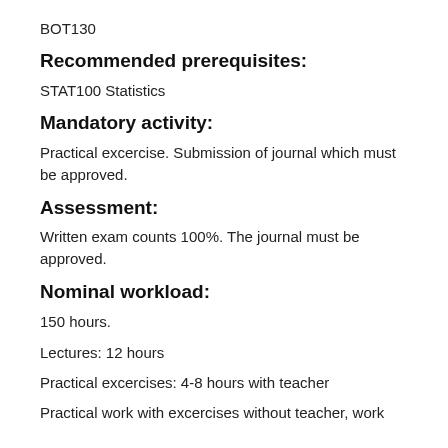BOT130
Recommended prerequisites:
STAT100 Statistics
Mandatory activity:
Practical excercise. Submission of journal which must be approved.
Assessment:
Written exam counts 100%. The journal must be approved.
Nominal workload:
150 hours.
Lectures: 12 hours
Practical excercises: 4-8 hours with teacher
Practical work with excercises without teacher, work